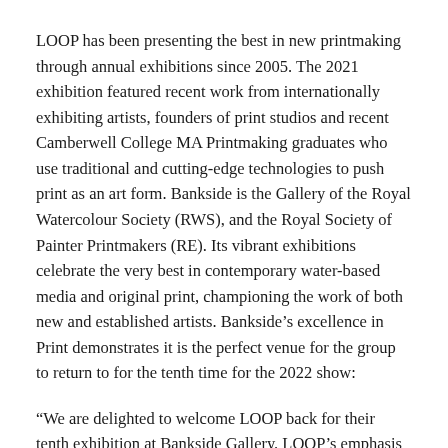LOOP has been presenting the best in new printmaking through annual exhibitions since 2005. The 2021 exhibition featured recent work from internationally exhibiting artists, founders of print studios and recent Camberwell College MA Printmaking graduates who use traditional and cutting-edge technologies to push print as an art form. Bankside is the Gallery of the Royal Watercolour Society (RWS), and the Royal Society of Painter Printmakers (RE). Its vibrant exhibitions celebrate the very best in contemporary water-based media and original print, championing the work of both new and established artists. Bankside's excellence in Print demonstrates it is the perfect venue for the group to return to for the tenth time for the 2022 show:
“We are delighted to welcome LOOP back for their tenth exhibition at Bankside Gallery. LOOP’s emphasis on innovative and imaginative printmaking is a perfect fit with